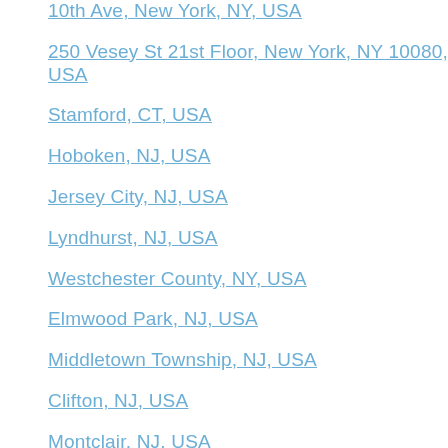10th Ave, New York, NY, USA
250 Vesey St 21st Floor, New York, NY 10080, USA
Stamford, CT, USA
Hoboken, NJ, USA
Jersey City, NJ, USA
Lyndhurst, NJ, USA
Westchester County, NY, USA
Elmwood Park, NJ, USA
Middletown Township, NJ, USA
Clifton, NJ, USA
Montclair, NJ, USA